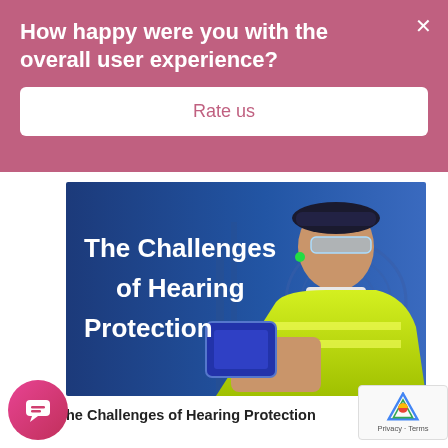How happy were you with the overall user experience?
Rate us
[Figure (photo): A worker wearing safety glasses, a hard hat, hearing protection earplug, and a high-visibility yellow vest, looking to the right. Text overlay reads 'The Challenges of Hearing Protection'.]
The Challenges of Hearing Protection